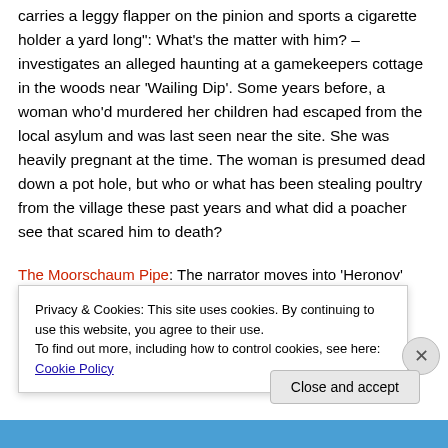carries a leggy flapper on the pinion and sports a cigarette holder a yard long": What’s the matter with him? – investigates an alleged haunting at a gamekeepers cottage in the woods near ‘Wailing Dip’. Some years before, a woman who’d murdered her children had escaped from the local asylum and was last seen near the site. She was heavily pregnant at the time. The woman is presumed dead down a pot hole, but who or what has been stealing poultry from the village these past years and what did a poacher see that scared him to death?
The Moorschaum Pipe: The narrator moves into ‘Heronov’
Privacy & Cookies: This site uses cookies. By continuing to use this website, you agree to their use.
To find out more, including how to control cookies, see here: Cookie Policy
Close and accept